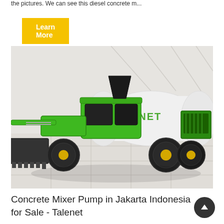the pictures. We can see this diesel concrete m...
Learn More
[Figure (photo): A green self-loading concrete mixer pump with a black scoop/bucket at the front, white mixing drum with 'ENET' branding, photographed in a white/light grey showroom with tiled floor. The machine is bright green and black with yellow rims on the wheels.]
Concrete Mixer Pump in Jakarta Indonesia for Sale - Talenet